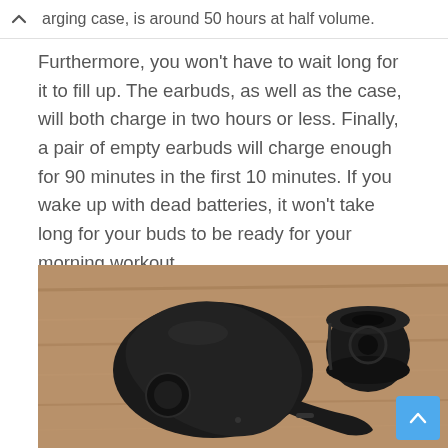arging case, is around 50 hours at half volume.
Furthermore, you won't have to wait long for it to fill up. The earbuds, as well as the case, will both charge in two hours or less. Finally, a pair of empty earbuds will charge enough for 90 minutes in the first 10 minutes. If you wake up with dead batteries, it won't take long for your buds to be ready for your morning workout.
[Figure (photo): Close-up photo of a black wireless earbud lying on a wooden surface next to a detached silicone ear tip, showing the earbud body with a button and microphone pinhole, and the ear tip with its circular opening.]